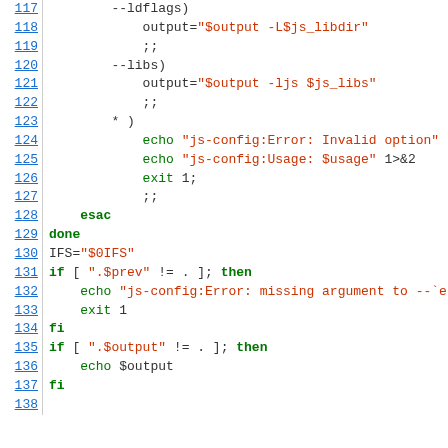[Figure (screenshot): Shell script source code, lines 117-138, showing a case/esac block with options --ldflags, --libs, and wildcard, followed by done, IFS, and if/fi conditionals.]